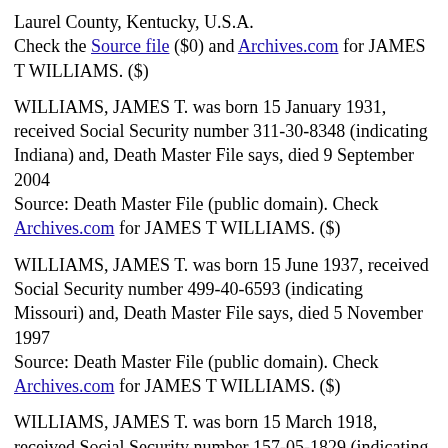Laurel County, Kentucky, U.S.A.
Check the Source file ($0) and Archives.com for JAMES T WILLIAMS. ($)
WILLIAMS, JAMES T. was born 15 January 1931, received Social Security number 311-30-8348 (indicating Indiana) and, Death Master File says, died 9 September 2004
Source: Death Master File (public domain). Check Archives.com for JAMES T WILLIAMS. ($)
WILLIAMS, JAMES T. was born 15 June 1937, received Social Security number 499-40-6593 (indicating Missouri) and, Death Master File says, died 5 November 1997
Source: Death Master File (public domain). Check Archives.com for JAMES T WILLIAMS. ($)
WILLIAMS, JAMES T. was born 15 March 1918, received Social Security number 157-05-1829 (indicating New Jersey) and, Death Master File says,